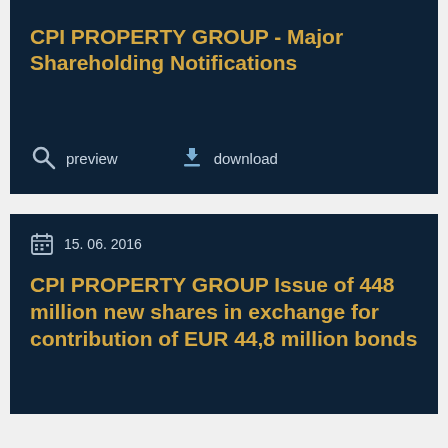CPI PROPERTY GROUP - Major Shareholding Notifications
preview   download
15. 06. 2016
CPI PROPERTY GROUP Issue of 448 million new shares in exchange for contribution of EUR 44,8 million bonds